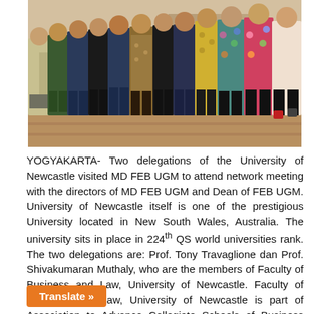[Figure (photo): Group photo of University of Newcastle delegations and MD FEB UGM directors/dean standing indoors on a wooden floor]
YOGYAKARTA- Two delegations of the University of Newcastle visited MD FEB UGM to attend network meeting with the directors of MD FEB UGM and Dean of FEB UGM. University of Newcastle itself is one of the prestigious University located in New South Wales, Australia. The university sits in place in 224th QS world universities rank. The two delegations are: Prof. Tony Travaglione dan Prof. Shivakumaran Muthaly, who are the members of Faculty of Business and Law, University of Newcastle. Faculty of Business and Law, University of Newcastle is part of Association to Advance Collegiate Schools of Business (AACSB) same as FEB UGM.